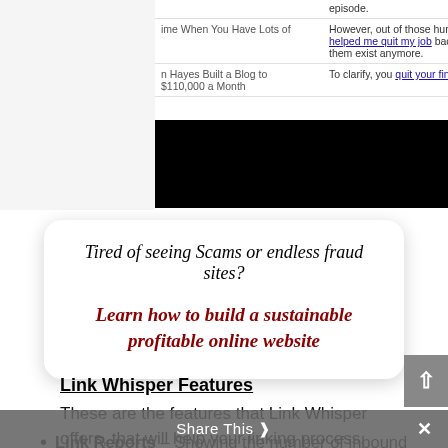[Figure (screenshot): Screenshot of a blog/website listing showing article titles and excerpts about niche sites and quitting jobs, with a black redacted bar covering part of the image]
Tired of seeing Scams or endless fraud sites?

Learn how to build a sustainable profitable online website
Link Whisper Features
These are the features that Link Whisper offers, that will help your linking process.
Link Reports – Showing the number of inbound and outbound links each post has.
Share This